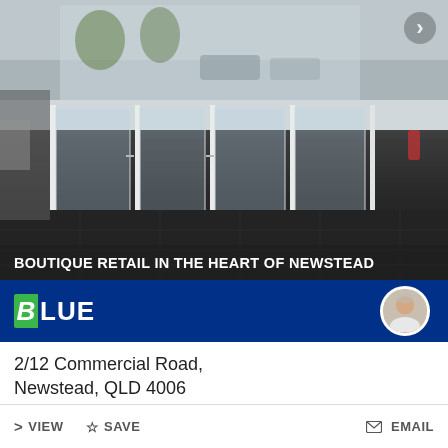[Figure (photo): Interior/entrance photo of a commercial building with glass sliding doors, dark tile floor, viewed from inside looking toward street. A storefront entrance with automatic glass doors, trees and parked cars visible outside.]
BOUTIQUE RETAIL IN THE HEART OF NEWSTEAD
[Figure (logo): BLUE real estate agency logo — green stylized B followed by LUE in white on dark blue background bar, with circular agent headshot photo on right side]
2/12 Commercial Road, Newstead, QLD 4006
Contact Agent
52 m²   Shop & Retail
> VIEW   ☆ SAVE   ✉ EMAIL